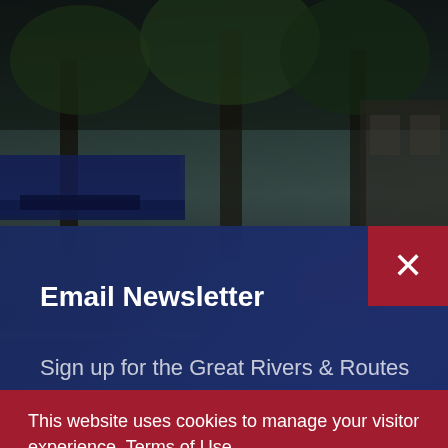[Figure (photo): Outdoor photo of a tree-lined street or campus area with buildings and awnings visible on the left, green foliage, and red/orange shrubs on the right. Dark, muted tones.]
Email Newsletter
Sign up for the Great Rivers & Routes
This website uses cookies to manage your visitor experience. Terms of Use
ACCEPT > >